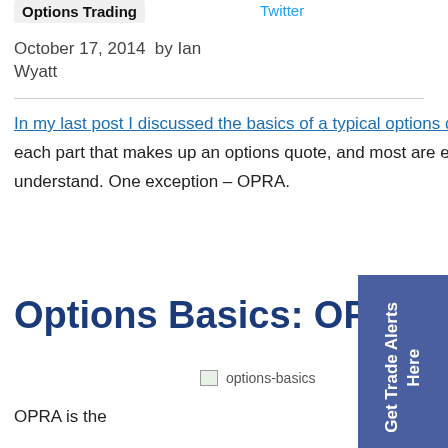Options Trading
Twitter
October 17, 2014  by Ian Wyatt
In my last post I discussed the basics of a typical options quote. I defined each part that makes up an options quote, and most are easy to understand. One exception – OPRA.
Options Basics: OPRA
[Figure (illustration): options-basics image placeholder]
OPRA is the acronym for Options Price Reporting Authority
Get Trade Alerts Here